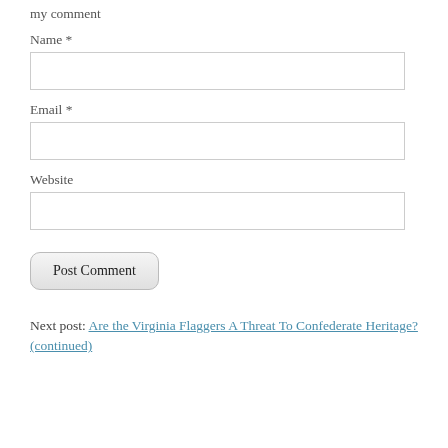my comment
Name *
Email *
Website
Post Comment
Next post: Are the Virginia Flaggers A Threat To Confederate Heritage? (continued)